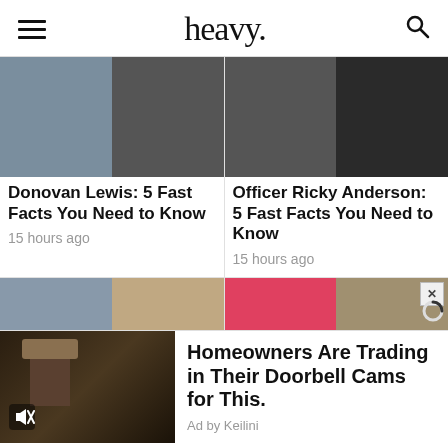heavy.
[Figure (photo): Thumbnail images for Donovan Lewis article - young man's face and a video still]
Donovan Lewis: 5 Fast Facts You Need to Know
15 hours ago
[Figure (photo): Thumbnail images for Officer Ricky Anderson article - dark footage stills]
Officer Ricky Anderson: 5 Fast Facts You Need to Know
15 hours ago
[Figure (photo): Thumbnail strip - woman with blonde hair]
[Figure (photo): Thumbnail strip - red block and mixed image]
[Figure (photo): Ad image - outdoor wall lamp at night with mute icon]
Homeowners Are Trading in Their Doorbell Cams for This.
Ad by Keilini